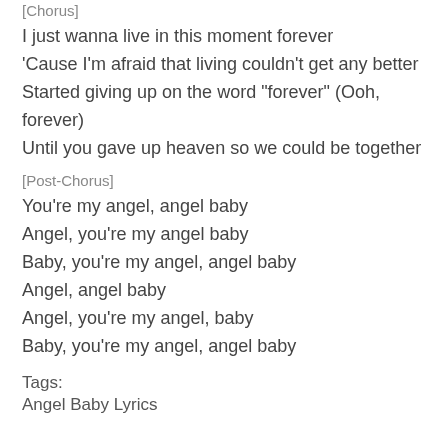[Chorus]
I just wanna live in this moment forever
‘Cause I’m afraid that living couldn’t get any better
Started giving up on the word “forever” (Ooh, forever)
Until you gave up heaven so we could be together
[Post-Chorus]
You’re my angel, angel baby
Angel, you’re my angel baby
Baby, you’re my angel, angel baby
Angel, angel baby
Angel, you’re my angel, baby
Baby, you’re my angel, angel baby
Tags:
Angel Baby Lyrics